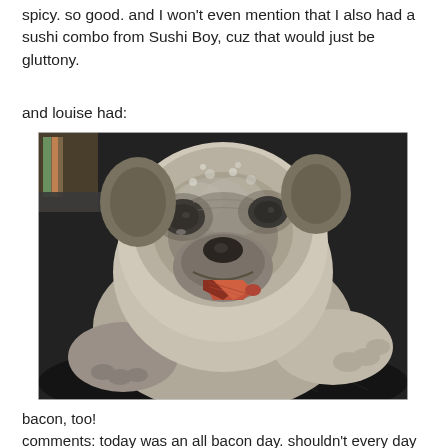spicy. so good. and I won't even mention that I also had a sushi combo from Sushi Boy, cuz that would just be gluttony.
and louise had:
[Figure (photo): A grey/white pug dog holding a strip of bacon in its mouth with its paw, looking directly at camera against a dark background.]
bacon, too!
comments: today was an all bacon day. shouldn't every day